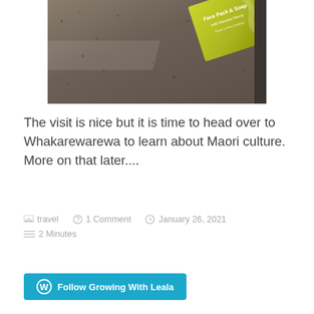[Figure (photo): A photograph of a green/yellow soap box labeled 'Face Pack & Soap with Manuka Honey' sitting on a speckled granite or stone countertop surface.]
The visit is nice but it is time to head over to Whakarewarewa to learn about Maori culture. More on that later....
travel   1 Comment   January 26, 2021   2 Minutes
Follow Growing With Leala